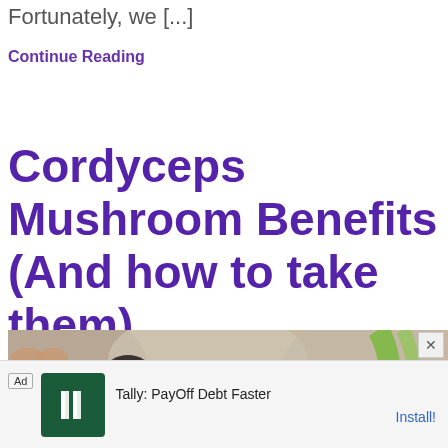Fortunately, we [...]
Continue Reading
Cordyceps Mushroom Benefits (And how to take them)
[Figure (photo): Close-up photo of cordyceps mushrooms with blurred background showing green stems and dark caps]
Ad  Tally: PayOff Debt Faster  Install!